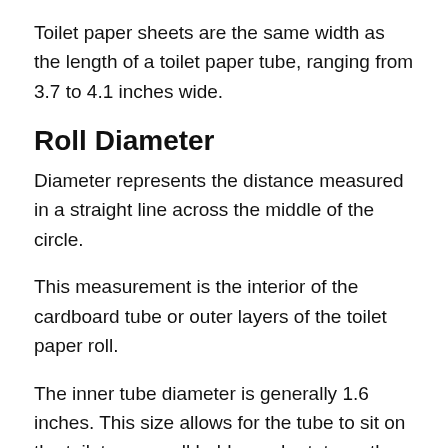Toilet paper sheets are the same width as the length of a toilet paper tube, ranging from 3.7 to 4.1 inches wide.
Roll Diameter
Diameter represents the distance measured in a straight line across the middle of the circle.
This measurement is the interior of the cardboard tube or outer layers of the toilet paper roll.
The inner tube diameter is generally 1.6 inches. This size allows for the tube to sit on the toilet paper roll holder and rotate as the paper is pulled off. However, some manufacturers use tubes with a larger diameter, giving consumer less product